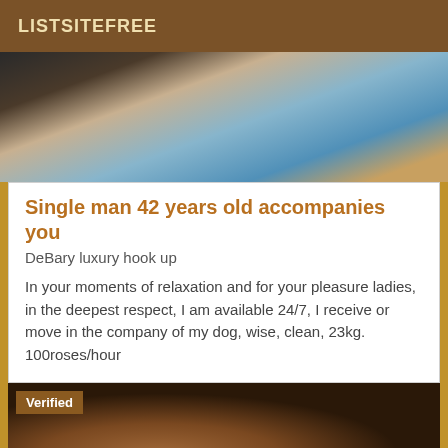LISTSITEFREE
[Figure (photo): Outdoor photo showing architectural elements with blue sky, warm tones, possibly a porch or terrace structure]
Single man 42 years old accompanies you
DeBary luxury hook up
In your moments of relaxation and for your pleasure ladies, in the deepest respect, I am available 24/7, I receive or move in the company of my dog, wise, clean, 23kg. 100roses/hour
[Figure (photo): Photo of a woman with dark hair, warm indoor lighting, with a Verified badge overlay]